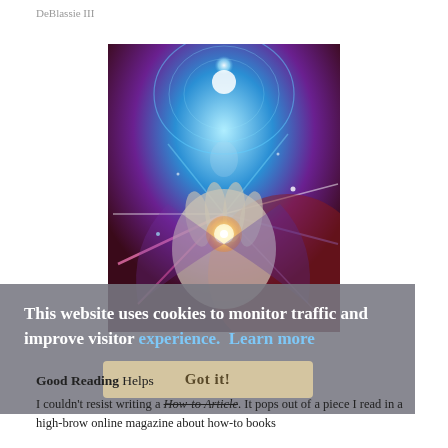DeBlassie III
[Figure (illustration): Digital fantasy artwork showing a glowing humanoid figure or hand holding a luminous orb, surrounded by swirling cosmic energy, spirals, and colorful light rays in blue, purple, pink, and red tones.]
This website uses cookies to monitor traffic and improve visitor experience.  Learn more
Got it!
Good Reading Helps
I couldn't resist writing a How-to Article. It pops out of a piece I read in a high-brow online magazine about how-to books